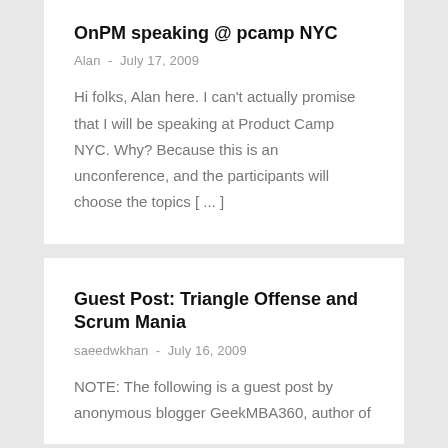OnPM speaking @ pcamp NYC
Alan  -  July 17, 2009
Hi folks, Alan here. I can't actually promise that I will be speaking at Product Camp NYC. Why? Because this is an unconference, and the participants will choose the topics [ ... ]
Guest Post: Triangle Offense and Scrum Mania
saeedwkhan  -  July 16, 2009
NOTE: The following is a guest post by anonymous blogger GeekMBA360, author of